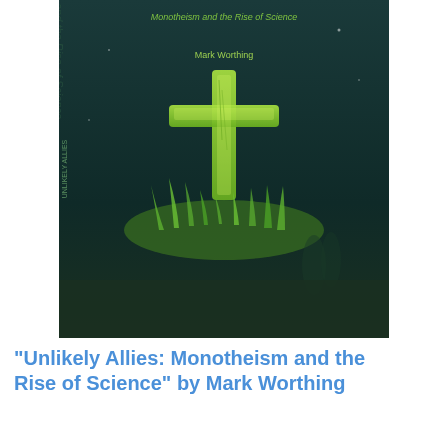[Figure (illustration): Book cover of 'Unlikely Allies: Monotheism and the Rise of Science' by Mark Worthing. Dark teal background with a glowing green cross made of plants/vines. Text at top reads the subtitle, author name Mark Worthing below it.]
"Unlikely Allies: Monotheism and the Rise of Science" by Mark Worthing
$29.00
$24.00 - Member price
[Figure (illustration): Book cover of 'A Reckless God? Currents and Challenges in the Christian Conversation with Science'. Dark blue/teal background with a glowing DNA double helix on the right, bright light burst in upper center. ISOAST logo at top. Multiple author names listed.]